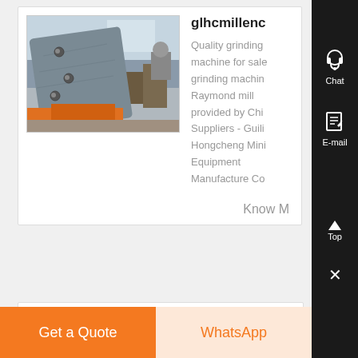[Figure (photo): Industrial grinding machine component, gray metal plate with bolts visible in a factory setting]
glhcmillenc
Quality grinding machine for sale grinding machine Raymond mill provided by China Suppliers - Guilin Hongcheng Mining Equipment Manufacture Co
Know M
Chat
E-mail
Top
Get a Quote
WhatsApp